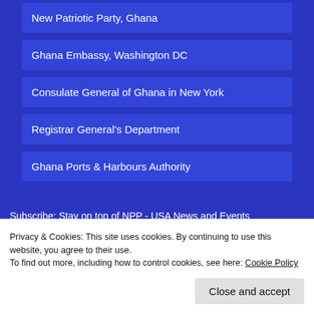New Patriotic Party, Ghana
Ghana Embassy, Washington DC
Consulate General of Ghana in New York
Registrar General's Department
Ghana Ports & Harbours Authority
Subscribe: Stay on top of NPP - USA News and Events
Enter your email address to subscribe to this site and receive notifications of new posts by email.
Privacy & Cookies: This site uses cookies. By continuing to use this website, you agree to their use.
To find out more, including how to control cookies, see here: Cookie Policy